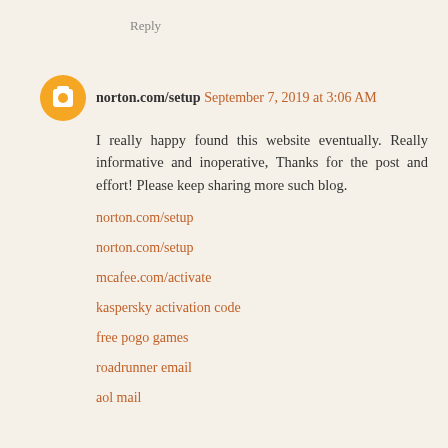Reply
norton.com/setup  September 7, 2019 at 3:06 AM
I really happy found this website eventually. Really informative and inoperative, Thanks for the post and effort! Please keep sharing more such blog.
norton.com/setup
norton.com/setup
mcafee.com/activate
kaspersky activation code
free pogo games
roadrunner email
aol mail